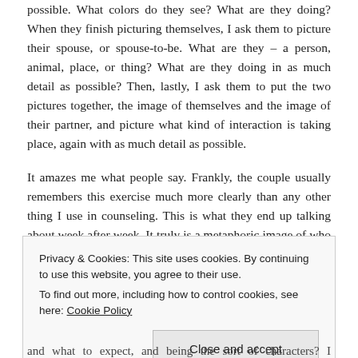possible. What colors do they see? What are they doing? When they finish picturing themselves, I ask them to picture their spouse, or spouse-to-be. What are they – a person, animal, place, or thing? What are they doing in as much detail as possible? Then, lastly, I ask them to put the two pictures together, the image of themselves and the image of their partner, and picture what kind of interaction is taking place, again with as much detail as possible.
It amazes me what people say. Frankly, the couple usually remembers this exercise much more clearly than any other thing I use in counseling. This is what they end up talking about week after week. It truly is a metaphoric image of who they are
Privacy & Cookies: This site uses cookies. By continuing to use this website, you agree to their use.
To find out more, including how to control cookies, see here: Cookie Policy
Close and accept
...and what to expect, and being the sort of characters? I Wouldn't